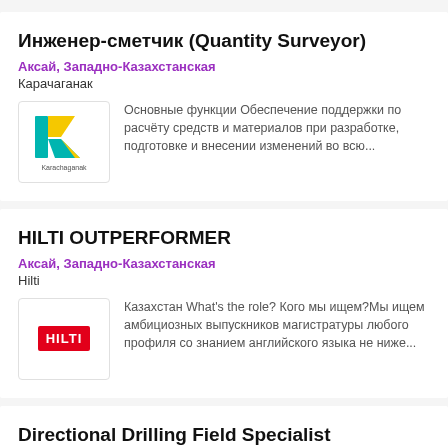Инженер-сметчик (Quantity Surveyor)
Аксай, Западно-Казахстанская
Карачаганак
[Figure (logo): Karachaganak company logo]
Основные функции Обеспечение поддержки по расчёту средств и материалов при разработке, подготовке и внесении изменений во всю...
HILTI OUTPERFORMER
Аксай, Западно-Казахстанская
Hilti
[Figure (logo): Hilti company logo - red rectangle with white HILTI text]
Казахстан What's the role? Кого мы ищем?Мы ищем амбициозных выпускников магистратуры любого профиля со знанием английского языка не ниже...
Directional Drilling Field Specialist